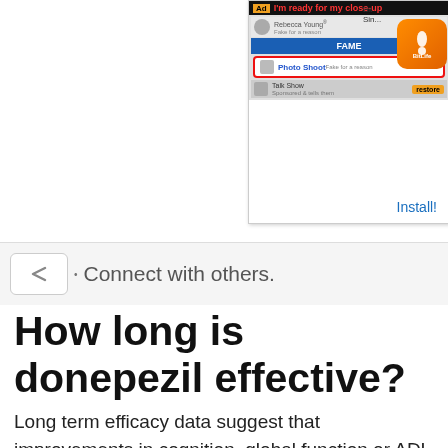[Figure (screenshot): Advertisement banner for BitLife app appearing in the top right of the page, showing a Facebook-style interface with 'Photo Shoot' highlighted in red circle, and BitLife app icon with 'Install!' link.]
Connect with others.
How long is donepezil effective?
Long term efficacy data suggest that improvements in cognition, global function or ADL are maintained for about 21 to 81 weeks with donepezil (10 mg/day in most patients). Donepezil is generally well tolerated with the majority of adverse events being mild and transient.